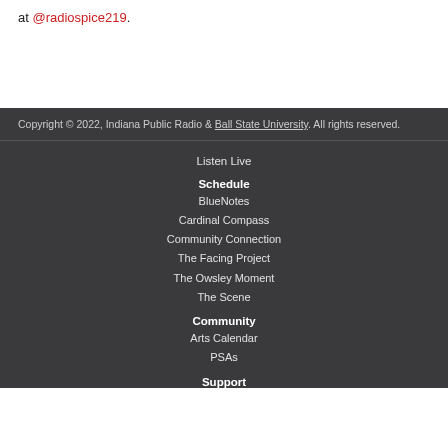at @radiospice219.
Copyright © 2022, Indiana Public Radio & Ball State University. All rights reserved.
Listen Live
Schedule
BlueNotes
Cardinal Compass
Community Connection
The Facing Project
The Owsley Moment
The Scene
Community
Arts Calendar
PSAs
Support